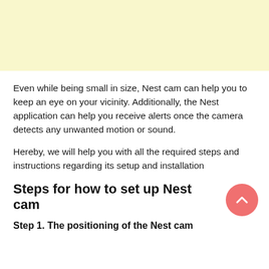[Figure (other): Light yellow banner/header area at the top of the page]
Even while being small in size, Nest cam can help you to keep an eye on your vicinity. Additionally, the Nest application can help you receive alerts once the camera detects any unwanted motion or sound.
Hereby, we will help you with all the required steps and instructions regarding its setup and installation
Steps for how to set up Nest cam
Step 1. The positioning of the Nest cam